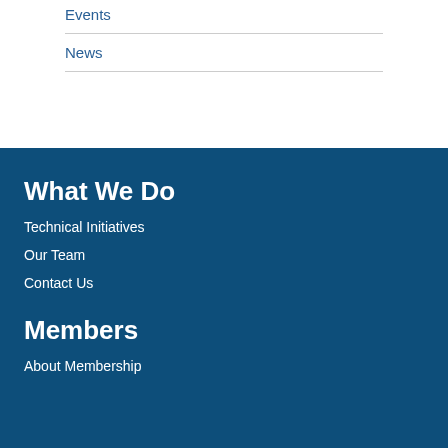Events
News
What We Do
Technical Initiatives
Our Team
Contact Us
Members
About Membership